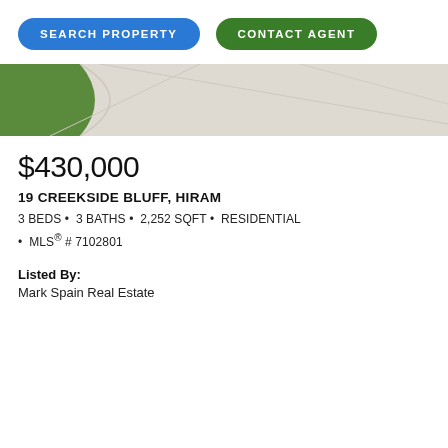[Figure (screenshot): Two pill-shaped buttons: blue 'SEARCH PROPERTY' and green 'CONTACT AGENT']
[Figure (photo): Property exterior photo strip showing a concrete driveway with green lawn on the left edge]
$430,000
19 CREEKSIDE BLUFF, HIRAM
3 BEDS • 3 BATHS • 2,252 SQFT • RESIDENTIAL • MLS® # 7102801
Listed By:
Mark Spain Real Estate